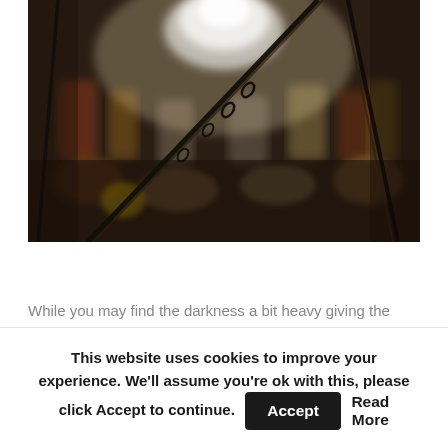[Figure (photo): Dark, blurry photograph of a crowded scene with chains or ropes in the foreground and blurred colorful figures in the background with bright light at the top center.]
While you may find the darkness a bit heavy giving the current situation, and the living costs in the UK are so high this year
This website uses cookies to improve your experience. We'll assume you're ok with this, please click Accept to continue. Accept Read More